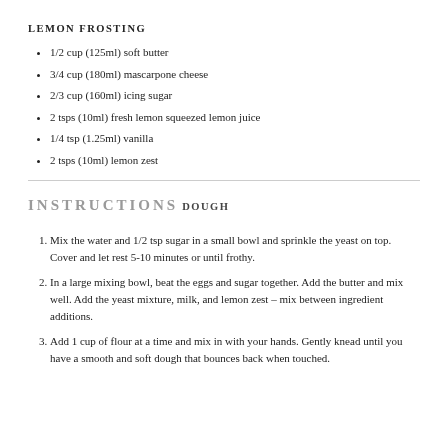LEMON FROSTING
1/2 cup (125ml) soft butter
3/4 cup (180ml) mascarpone cheese
2/3 cup (160ml) icing sugar
2 tsps (10ml) fresh lemon squeezed lemon juice
1/4 tsp (1.25ml) vanilla
2 tsps (10ml) lemon zest
INSTRUCTIONS
DOUGH
Mix the water and 1/2 tsp sugar in a small bowl and sprinkle the yeast on top. Cover and let rest 5-10 minutes or until frothy.
In a large mixing bowl, beat the eggs and sugar together. Add the butter and mix well. Add the yeast mixture, milk, and lemon zest – mix between ingredient additions.
Add 1 cup of flour at a time and mix in with your hands. Gently knead until you have a smooth and soft dough that bounces back when touched.